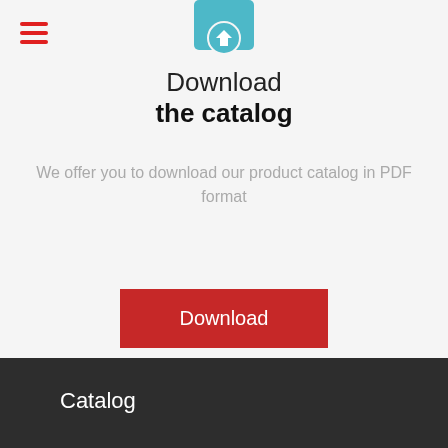[Figure (illustration): Teal/cyan icon of a document with a download arrow, partially visible at top]
Download the catalog
We offer you to download our product catalog in PDF format
Download
Catalog